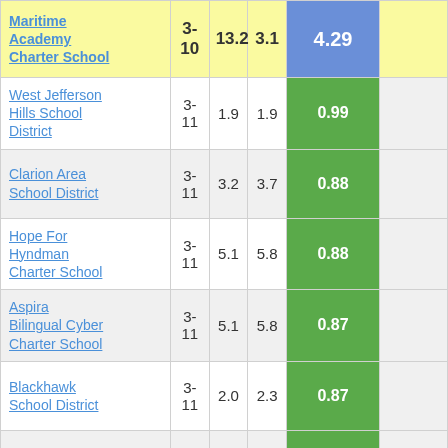| School/District | Grades | Col3 | Col4 | Score |  |
| --- | --- | --- | --- | --- | --- |
| Maritime Academy Charter School | 3-10 | 13.2 | 3.1 | 4.29 |  |
| West Jefferson Hills School District | 3-11 | 1.9 | 1.9 | 0.99 |  |
| Clarion Area School District | 3-11 | 3.2 | 3.7 | 0.88 |  |
| Hope For Hyndman Charter School | 3-11 | 5.1 | 5.8 | 0.88 |  |
| Aspira Bilingual Cyber Charter School | 3-11 | 5.1 | 5.8 | 0.87 |  |
| Blackhawk School District | 3-11 | 2.0 | 2.3 | 0.87 |  |
| Moon Area School District | 3-11 | 1.5 | 1.8 | 0.86 |  |